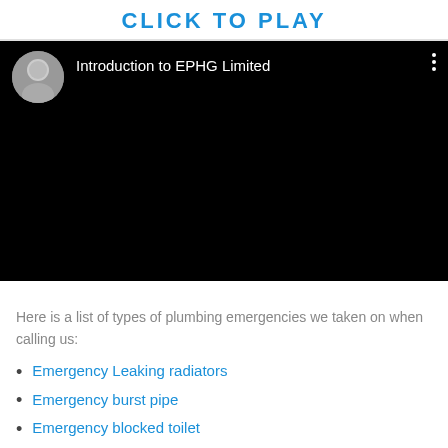CLICK TO PLAY
[Figure (screenshot): Embedded video player with black background showing 'Introduction to EPHG Limited' with a circular avatar thumbnail on the left and three-dot menu icon on the right]
Here is a list of types of plumbing emergencies we taken on when calling us:
Emergency Leaking radiators
Emergency burst pipe
Emergency blocked toilet